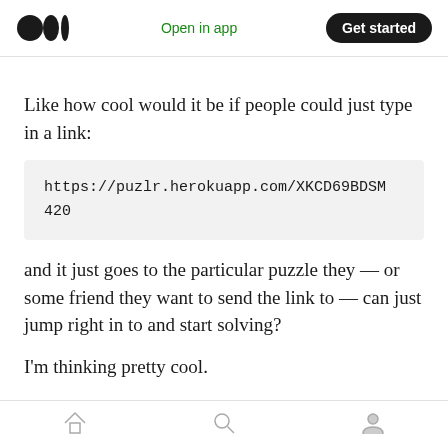Medium — Open in app | Get started
Like how cool would it be if people could just type in a link:
https://puzlr.herokuapp.com/XKCD69BDSM420
and it just goes to the particular puzzle they — or some friend they want to send the link to — can just jump right in to and start solving?
I'm thinking pretty cool.
Home | Search | Profile